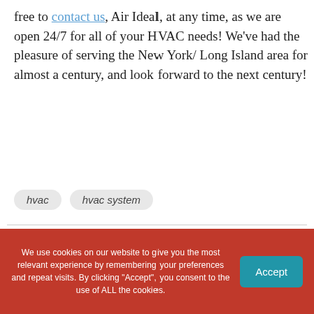free to contact us, Air Ideal, at any time, as we are open 24/7 for all of your HVAC needs! We've had the pleasure of serving the New York/ Long Island area for almost a century, and look forward to the next century!
hvac
hvac system
Find out what we can do for you.
We use cookies on our website to give you the most relevant experience by remembering your preferences and repeat visits. By clicking "Accept", you consent to the use of ALL the cookies.